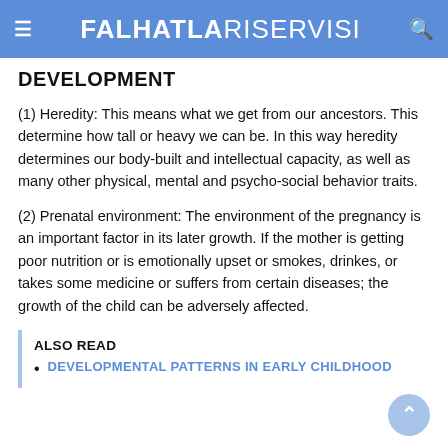FALHATLA RISERVISI
DEVELOPMENT
(1) Heredity: This means what we get from our ancestors. This determine how tall or heavy we can be. In this way heredity determines our body-built and intellectual capacity, as well as many other physical, mental and psycho-social behavior traits.
(2) Prenatal environment: The environment of the pregnancy is an important factor in its later growth. If the mother is getting poor nutrition or is emotionally upset or smokes, drinkes, or takes some medicine or suffers from certain diseases; the growth of the child can be adversely affected.
ALSO READ
DEVELOPMENTAL PATTERNS IN EARLY CHILDHOOD